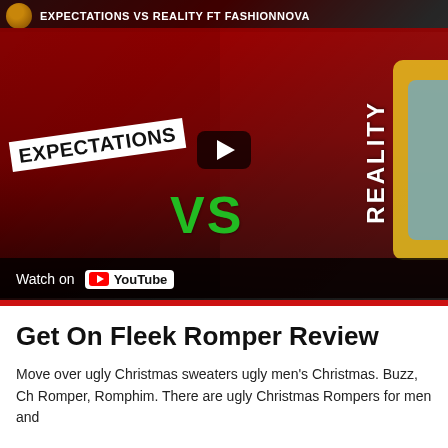[Figure (screenshot): YouTube video thumbnail showing two women in red outfits. Left side shows a slim woman with text 'EXPECTATIONS' on a white banner. Center shows green text 'VS'. Right side shows a woman in red sweater with 'REALITY' text. Top bar shows avatar and title 'EXPECTATIONS VS REALITY FT FASHIONNOVA'. Bottom bar shows 'Watch on YouTube' badge. A YouTube play button overlay is visible in the center.]
Get On Fleek Romper Review
Move over ugly Christmas sweaters ugly men's Christmas. Buzz, Ch Romper, Romphim. There are ugly Christmas Rompers for men and